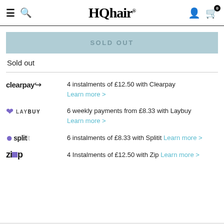HQhair
SOLD OUT
Sold out
4 instalments of £12.50 with Clearpay
Learn more >
6 weekly payments from £8.33 with Laybuy
Learn more >
6 instalments of £8.33 with Splitit Learn more >
4 Instalments of £12.50 with Zip Learn more >